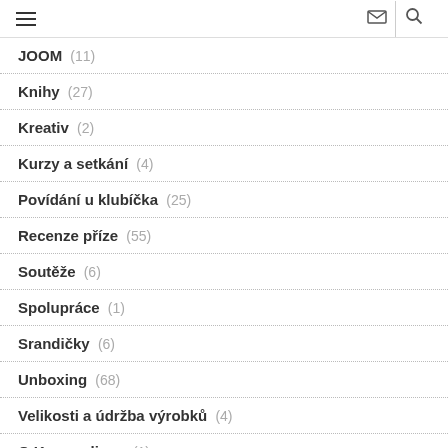≡  ✉  🔍
JOOM (11)
Knihy (27)
Kreativ (2)
Kurzy a setkání (4)
Povídání u klubíčka (25)
Recenze příze (55)
Soutěže (6)
Spolupráce (1)
Srandičky (6)
Unboxing (68)
Velikosti a údržba výrobků (4)
O Krampolince (1)